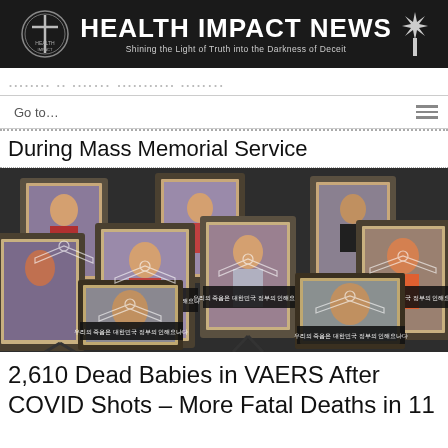HEALTH IMPACT NEWS — Shining the Light of Truth into the Darkness of Deceit
Go to...
During Mass Memorial Service
[Figure (photo): Multiple framed memorial portrait photographs displayed at a Korean mass memorial service. Each frame shows a portrait photo with Korean text overlaid in a decorative placard style. The portraits are arranged densely, overlapping one another.]
2,610 Dead Babies in VAERS After COVID Shots – More Fatal Deaths in 11